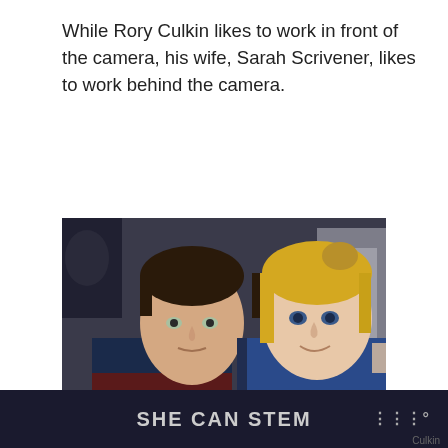While Rory Culkin likes to work in front of the camera, his wife, Sarah Scrivener, likes to work behind the camera.
[Figure (photo): A couple seated together. On the left is a young man with dark hair wearing a navy and dark red striped sweater. On the right is a blonde woman wearing a blue top with open shoulders. They appear to be at an event.]
SHE CAN STEM